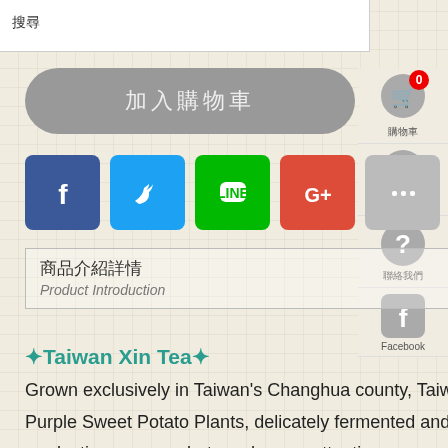搜尋
加入購物車
[Figure (screenshot): Social sharing icons: Facebook (blue), Twitter (blue), LINE (green), Google+ (red), More (gray)]
商品介紹詳情
Product Introduction
✦Taiwan Xin Tea✦
Grown exclusively in Taiwan's Changhua county, Taiwan Xin Tea is finished from the giant leaves of Taiwan Purple Sweet Potato Plants, delicately fermented and oxidized with a technique similar to the black tea production process, but much more attention